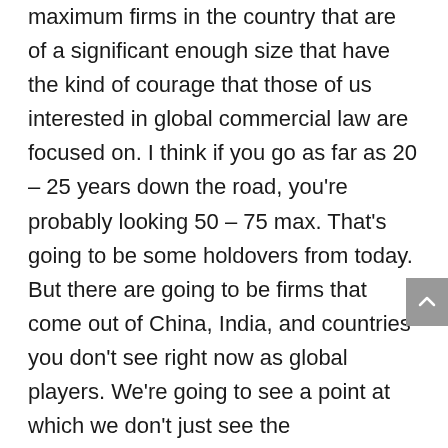maximum firms in the country that are of a significant enough size that have the kind of courage that those of us interested in global commercial law are focused on. I think if you go as far as 20 – 25 years down the road, you're probably looking 50 – 75 max. That's going to be some holdovers from today. But there are going to be firms that come out of China, India, and countries you don't see right now as global players. We're going to see a point at which we don't just see the consolidation of firms; we see the transformation of firms.
Let's hang one more idea on the other aspect of consolidation and that one as well...